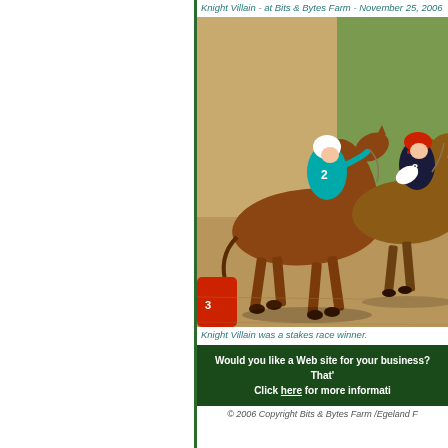Knight Villain - at Bits & Bytes Farm - November 25, 2006
[Figure (photo): Horse race photo showing two horses with jockeys racing closely together on a dirt track. Jockey #2 in teal/blue silks on a chestnut horse, jockey #3 in dark silks with red cap on the right.]
Knight Villain was a stakes race winner.
Would you like a Web site for your business? That's Click here for more informati...
© 2006 Copyright Bits & Bytes Farm /Egeland F...